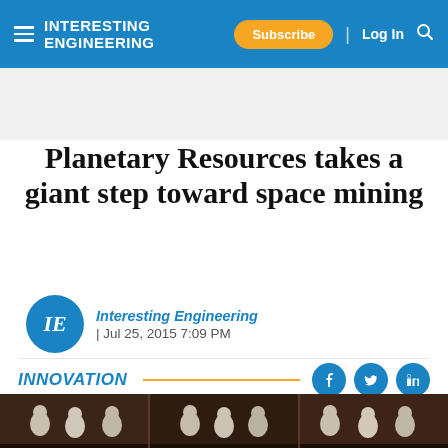INTERESTING ENGINEERING — Subscribe | Log In
Planetary Resources takes a giant step toward space mining
Interesting Engineering | Jul 25, 2015 7:09 PM
INNOVATION
[Figure (photo): Group photo of people in white cleanroom suits/hairnets, standing in what appears to be a facility.]